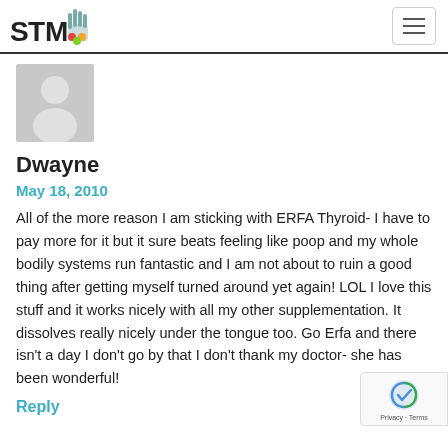STTM logo and navigation
[Figure (illustration): Generic user avatar - grey silhouette of a person on grey background]
Dwayne
May 18, 2010
All of the more reason I am sticking with ERFA Thyroid- I have to pay more for it but it sure beats feeling like poop and my whole bodily systems run fantastic and I am not about to ruin a good thing after getting myself turned around yet again! LOL I love this stuff and it works nicely with all my other supplementation. It dissolves really nicely under the tongue too. Go Erfa and there isn't a day I don't go by that I don't thank my doctor- she has been wonderful!
Reply